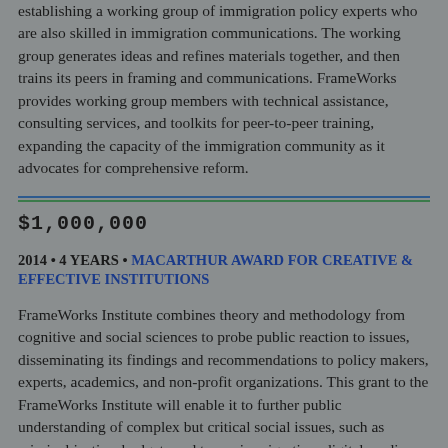establishing a working group of immigration policy experts who are also skilled in immigration communications. The working group generates ideas and refines materials together, and then trains its peers in framing and communications. FrameWorks provides working group members with technical assistance, consulting services, and toolkits for peer-to-peer training, expanding the capacity of the immigration community as it advocates for comprehensive reform.
$1,000,000
2014 • 4 YEARS • MACARTHUR AWARD FOR CREATIVE & EFFECTIVE INSTITUTIONS
FrameWorks Institute combines theory and methodology from cognitive and social sciences to probe public reaction to issues, disseminating its findings and recommendations to policy makers, experts, academics, and non-profit organizations. This grant to the FrameWorks Institute will enable it to further public understanding of complex but critical social issues, such as criminal justice, budgets and taxes, immigration, digital media, and climate change. It will solidify the organization's financial health, assist it in a